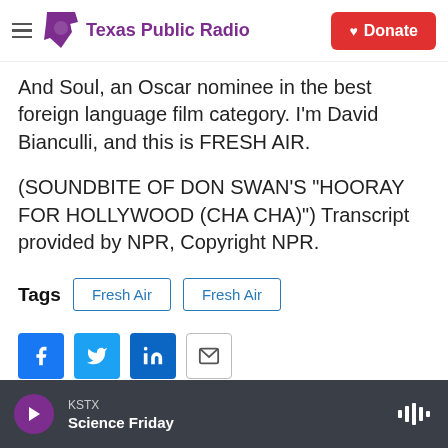Texas Public Radio | Donate
And Soul,  an Oscar nominee in the best foreign language film category. I'm David Bianculli, and this is FRESH AIR.
(SOUNDBITE OF DON SWAN'S "HOORAY FOR HOLLYWOOD (CHA CHA)") Transcript provided by NPR, Copyright NPR.
Tags  Fresh Air  Fresh Air
[Figure (infographic): Social share icons: Facebook, Twitter, LinkedIn, Email]
KSTX  Science Friday